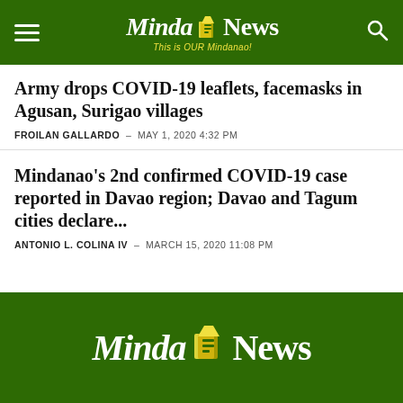MindaNews - This is OUR Mindanao!
Army drops COVID-19 leaflets, facemasks in Agusan, Surigao villages
FROILAN GALLARDO - MAY 1, 2020 4:32 PM
Mindanao's 2nd confirmed COVID-19 case reported in Davao region; Davao and Tagum cities declare...
ANTONIO L. COLINA IV - MARCH 15, 2020 11:08 PM
MindaNews